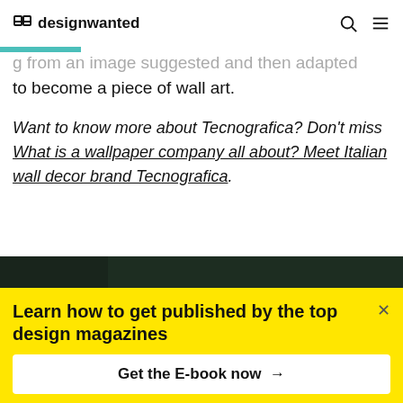designwanted
g from an image suggested and then adapted to become a piece of wall art.
Want to know more about Tecnografica? Don't miss What is a wallpaper company all about? Meet Italian wall decor brand Tecnografica.
[Figure (photo): Dark background with pink/red and white floral shapes, resembling flowers or petals.]
Learn how to get published by the top design magazines
Get the E-book now →